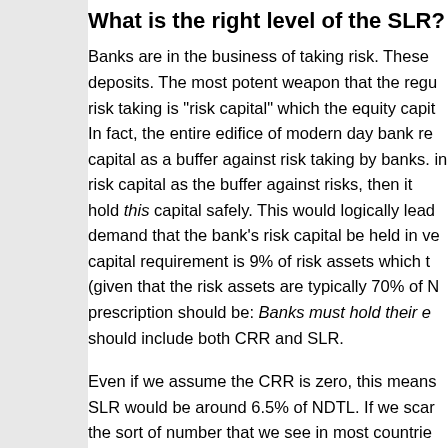What is the right level of the SLR?
Banks are in the business of taking risk. These deposits. The most potent weapon that the regu risk taking is "risk capital" which the equity capit In fact, the entire edifice of modern day bank re capital as a buffer against risk taking by banks. in risk capital as the buffer against risks, then it hold this capital safely. This would logically lead demand that the bank's risk capital be held in ve capital requirement is 9% of risk assets which t (given that the risk assets are typically 70% of N prescription should be: Banks must hold their e should include both CRR and SLR.
Even if we assume the CRR is zero, this means SLR would be around 6.5% of NDTL. If we scar the sort of number that we see in most countrie SLR value above 6.5% of NDTL is motivated by